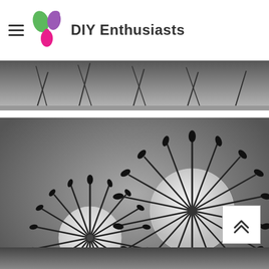DIY Enthusiasts
[Figure (photo): Partial top image strip in black and white, appears to show spiky objects]
[Figure (photo): Black and white photo of two spiky ball objects resembling coronavirus models or decorative balls with protrusions, sitting on a white snowy surface with gray background]
[Figure (photo): Partial bottom image strip in black and white, shows similar spiky objects]